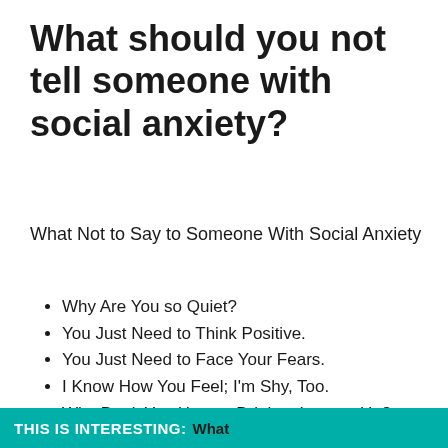What should you not tell someone with social anxiety?
What Not to Say to Someone With Social Anxiety
Why Are You so Quiet?
You Just Need to Think Positive.
You Just Need to Face Your Fears.
I Know How You Feel; I'm Shy, Too.
Why Don't You Have a Drink to Loosen Up?
Let Me Order for You.
Wow, Your Face Just Turned Really Red.
THIS IS INTERESTING: What